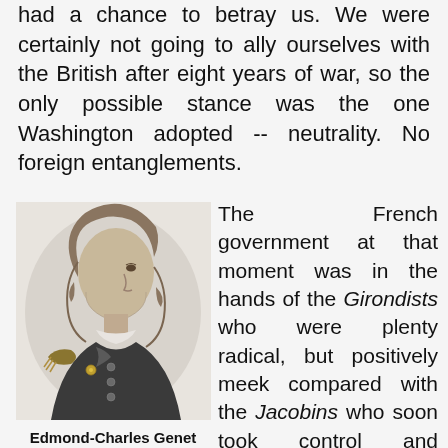had a chance to betray us. We were certainly not going to ally ourselves with the British after eight years of war, so the only possible stance was the one Washington adopted -- neutrality. No foreign entanglements.
[Figure (illustration): Portrait engraving of Edmond-Charles Genet, shown in profile facing left, wearing a military uniform with epaulettes and decorative details.]
Edmond-Charles Genet
The French government at that moment was in the hands of the Girondists who were plenty radical, but positively meek compared with the Jacobins who soon took control and employed the guillotine routinely. The Girondists exercised particularly poor judgment in sending Edmond-